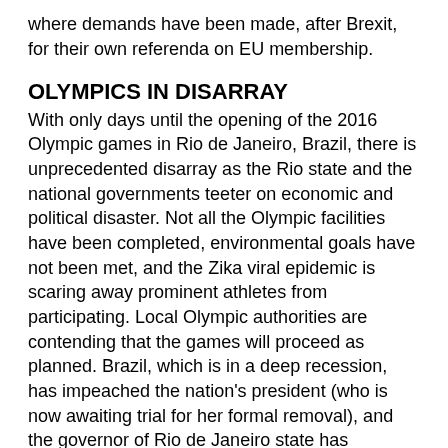where demands have been made, after Brexit, for their own referenda on EU membership.
OLYMPICS IN DISARRAY
With only days until the opening of the 2016 Olympic games in Rio de Janeiro, Brazil, there is unprecedented disarray as the Rio state and the national governments teeter on economic and political disaster. Not all the Olympic facilities have been completed, environmental goals have not been met, and the Zika viral epidemic is scaring away prominent athletes from participating. Local Olympic authorities are contending that the games will proceed as planned. Brazil, which is in a deep recession, has impeached the nation's president (who is now awaiting trial for her formal removal), and the governor of Rio de Janeiro state has declared a state of emergency. Many nations and international agencies have warned tourists about going to Rio for the games, primarily because of the Zika epidemic.
ARGENTINA MAKING A COMEBACK?
In contrast to her larger hemispheric neighbor Brazil